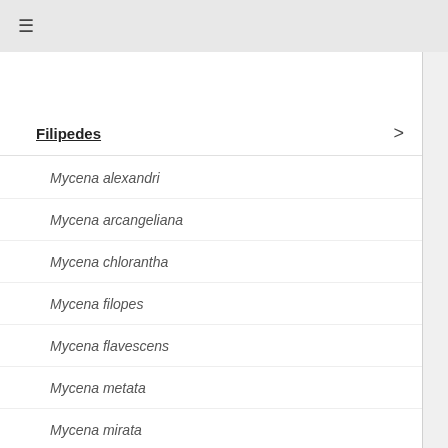☰
Filipedes
Mycena alexandri
Mycena arcangeliana
Mycena chlorantha
Mycena filopes
Mycena flavescens
Mycena metata
Mycena mirata
Mycena rapiolens
Mycena septentrionalis
Mycena urania